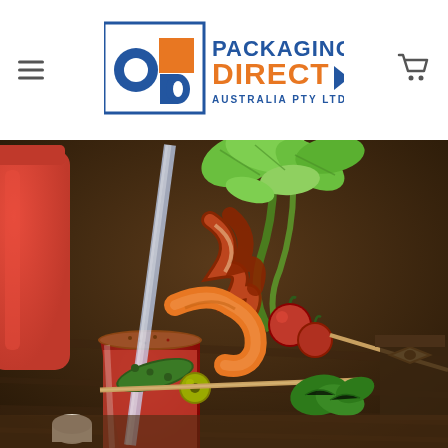Packaging Direct Australia Pty Ltd - website header with navigation
[Figure (photo): A Bloody Mary cocktail in a glass with a spiced rim, garnished with a clear straw, bacon strips, celery leaves, shrimp, olives, pickles, cherry tomatoes, and parsley, with a red sauce bottle in the background on a wooden surface.]